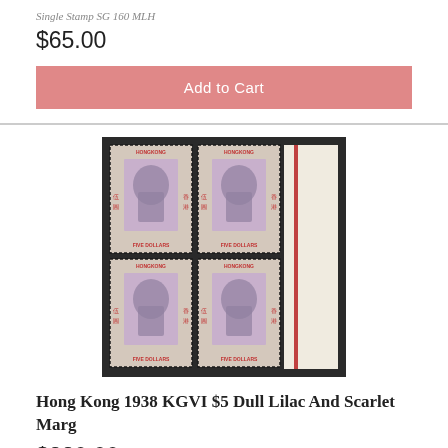Single Stamp SG 160 MLH
$65.00
Add to Cart
[Figure (photo): Block of four Hong Kong 1938 KGVI $5 Dull Lilac and Scarlet stamps with right sheet margin showing red line. Black background mount.]
Hong Kong 1938 KGVI $5 Dull Lilac And Scarlet Marg
$220.00